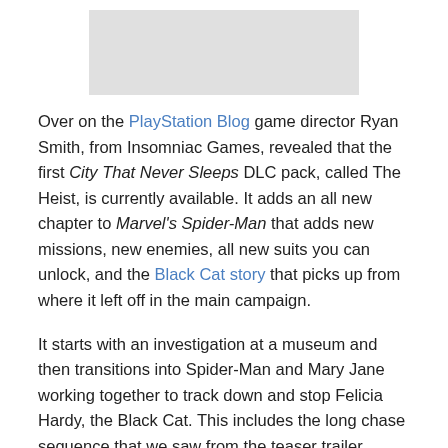[Figure (photo): Gray placeholder image area at top of page]
Over on the PlayStation Blog game director Ryan Smith, from Insomniac Games, revealed that the first City That Never Sleeps DLC pack, called The Heist, is currently available. It adds an all new chapter to Marvel's Spider-Man that adds new missions, new enemies, all new suits you can unlock, and the Black Cat story that picks up from where it left off in the main campaign.
It starts with an investigation at a museum and then transitions into Spider-Man and Mary Jane working together to track down and stop Felicia Hardy, the Black Cat. This includes the long chase sequence that we saw from the teaser trailer where Spider-Man and Black Cat are seen running, leaping, and swinging...